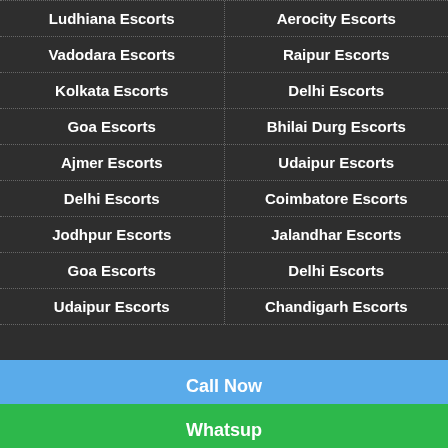Ludhiana Escorts | Aerocity Escorts
Vadodara Escorts | Raipur Escorts
Kolkata Escorts | Delhi Escorts
Goa Escorts | Bhilai Durg Escorts
Ajmer Escorts | Udaipur Escorts
Delhi Escorts | Coimbatore Escorts
Jodhpur Escorts | Jalandhar Escorts
Goa Escorts | Delhi Escorts
Udaipur Escorts | Chandigarh Escorts
Call Now
Whatsup